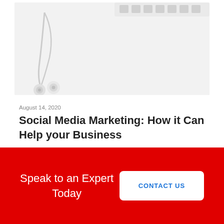[Figure (photo): Photo of white earbuds/headphones and keyboard on a white surface]
August 14, 2020
Social Media Marketing: How it Can Help your Business
Read more
Speak to an Expert Today
CONTACT US